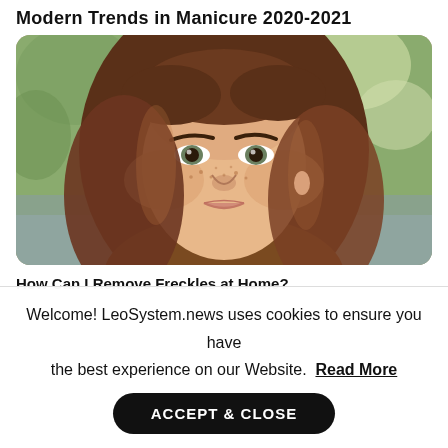Modern Trends in Manicure 2020-2021
[Figure (photo): Portrait of a young woman with long auburn/brown wavy hair and freckles, looking directly at the camera, with a blurred outdoor background.]
How Can I Remove Freckles at Home?
Welcome! LeoSystem.news uses cookies to ensure you have the best experience on our Website. Read More
ACCEPT & CLOSE